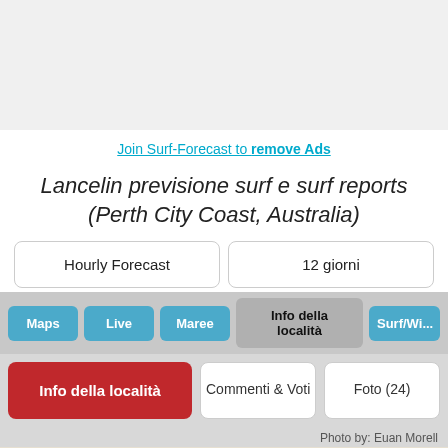[Figure (other): Advertisement banner area, light gray background]
Join Surf-Forecast to remove Ads
Lancelin previsione surf e surf reports (Perth City Coast, Australia)
Hourly Forecast
12 giorni
Maps
Live
Maree
Info della località
Surf/Win...
Info della località
Commenti & Voti
Foto (24)
Photo by: Euan Morell